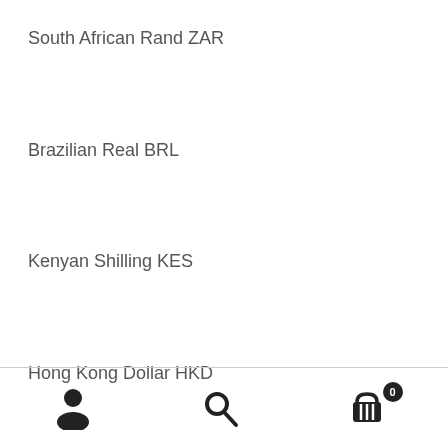South African Rand ZAR
Brazilian Real BRL
Kenyan Shilling KES
Hong Kong Dollar HKD